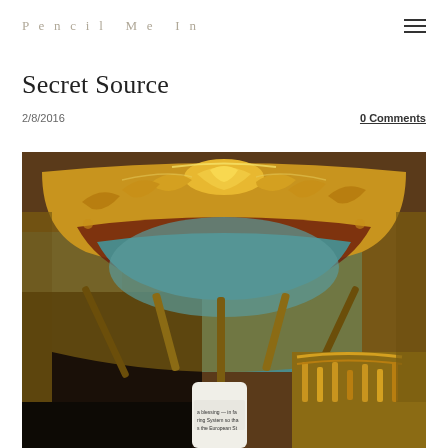Pencil Me In
Secret Source
2/8/2016
0 Comments
[Figure (photo): Close-up photograph of an ornate gilded picture frame with baroque decorative carvings, showing gold leaf details, against a teal background. A white cylindrical container is partially visible at the bottom, with text partially readable mentioning 'a blessing', 'Spring System', 'European St'.]